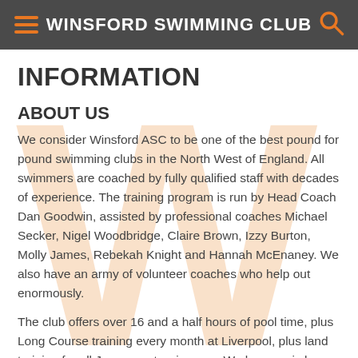WINSFORD SWIMMING CLUB
INFORMATION
ABOUT US
We consider Winsford ASC to be one of the best pound for pound swimming clubs in the North West of England. All swimmers are coached by fully qualified staff with decades of experience. The training program is run by Head Coach Dan Goodwin, assisted by professional coaches Michael Secker, Nigel Woodbridge, Claire Brown, Izzy Burton, Molly James, Rebekah Knight and Hannah McEnaney. We also have an army of volunteer coaches who help out enormously.
The club offers over 16 and a half hours of pool time, plus Long Course training every month at Liverpool, plus land training for all Juggernaut swimmers. We have a six lane deck level pool with a state of the art